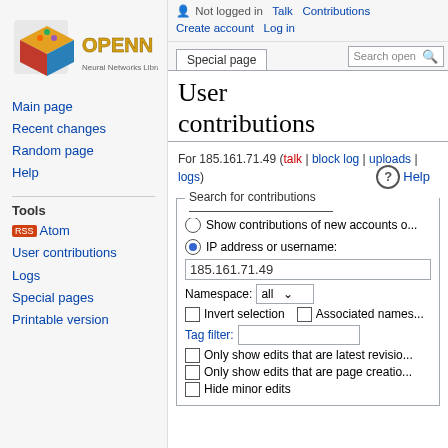[Figure (logo): OpenNN logo - stylized text OPENN in yellow/gold with colorful cube graphic]
Main page
Recent changes
Random page
Help
Tools
Atom
User contributions
Logs
Special pages
Printable version
Not logged in  Talk  Contributions  Create account  Log in
Special page
User contributions
For 185.161.71.49 (talk | block log | uploads | logs)
Search for contributions
Show contributions of new accounts o...
IP address or username:
185.161.71.49
Namespace:  all
Invert selection  Associated names...
Tag filter:
Only show edits that are latest revisio...
Only show edits that are page creatio...
Hide minor edits